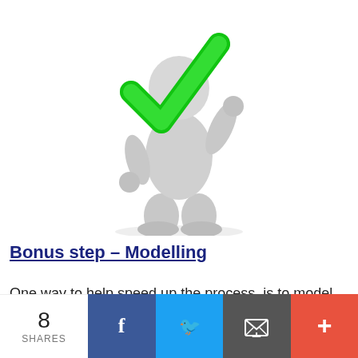[Figure (illustration): 3D white figure/character holding a large green checkmark]
Bonus step – Modelling
One way to help speed up the process, is to model others that have already succeeded!
There is no need to re-invent the wheel...
By continuing to use the site, you agree to the use of cookies. more information
8 SHARES